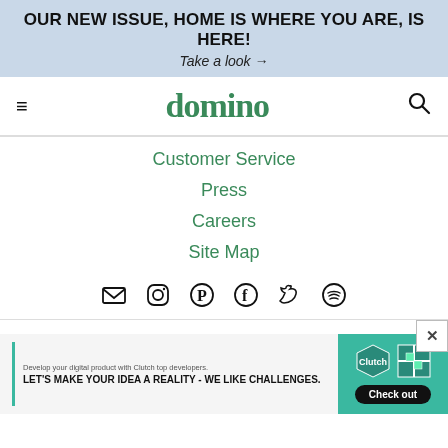OUR NEW ISSUE, HOME IS WHERE YOU ARE, IS HERE! Take a look →
[Figure (screenshot): Domino magazine website header with hamburger menu, domino logo in green, and search icon]
Customer Service
Press
Careers
Site Map
[Figure (infographic): Social media icons row: email, instagram, pinterest, facebook, twitter, spotify]
[Figure (infographic): Advertisement: Develop your digital product with Clutch top developers. LET'S MAKE YOUR IDEA A REALITY - WE LIKE CHALLENGES. Check out button with teal background and badges.]